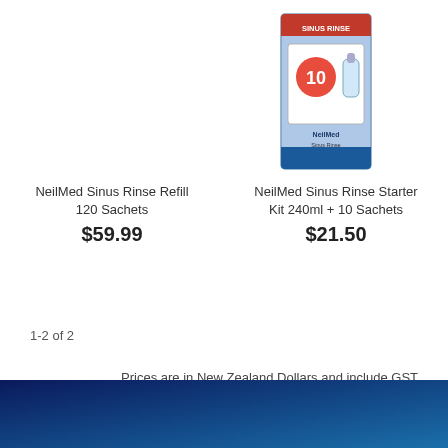[Figure (photo): Product image area for NeilMed Sinus Rinse Refill 120 Sachets (left, no visible product image shown)]
NeilMed Sinus Rinse Refill 120 Sachets
$59.99
[Figure (photo): Product box image for NeilMed Sinus Rinse Starter Kit 240ml + 10 Sachets, showing blue and white box with a bottle and the number 10]
NeilMed Sinus Rinse Starter Kit 240ml + 10 Sachets
$21.50
1-2 of 2
Prices are in New Zealand Dollars and include GST
Terms & Conditions